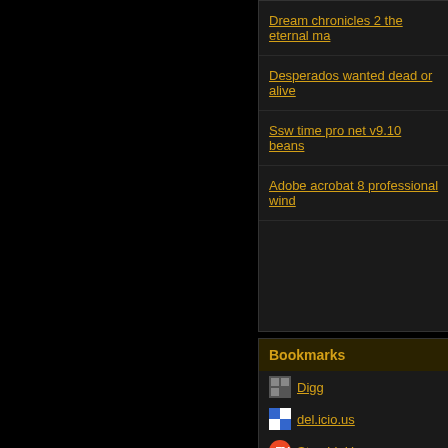Dream chronicles 2 the eternal ma
Desperados wanted dead or alive
Ssw time pro net v9.10 beans
Adobe acrobat 8 professional wind
Bookmarks
Digg
del.icio.us
StumbleUpon
Google